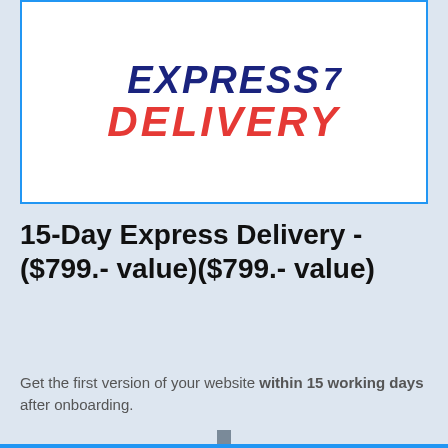[Figure (logo): Express Delivery logo with blue 'EXPRESS' text and red 'DELIVERY' text in italic bold font, inside a white box with blue border]
15-Day Express Delivery - ($799.- value)($799.- value)
Get the first version of your website within 15 working days after onboarding.
[Figure (other): Large plus (+) symbol in gray, acting as a separator or additive indicator]